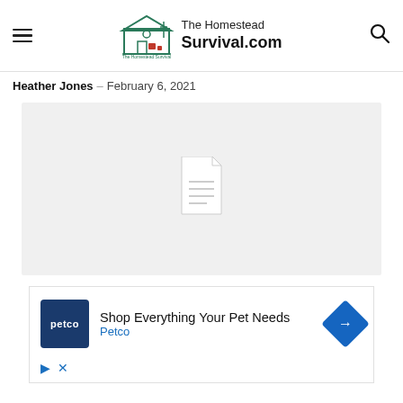The Homestead Survival.com
Heather Jones – February 6, 2021
[Figure (other): Gray image placeholder with a document/file icon in the center]
[Figure (other): Petco advertisement: 'Shop Everything Your Pet Needs – Petco' with Petco logo and blue arrow icon]